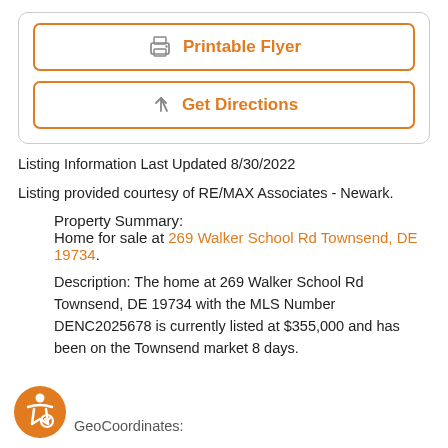[Figure (other): Printable Flyer button with printer icon, orange bordered button]
[Figure (other): Get Directions button with navigation arrow icon, orange bordered button]
Listing Information Last Updated 8/30/2022
Listing provided courtesy of RE/MAX Associates - Newark.
Property Summary:
Home for sale at 269 Walker School Rd Townsend, DE 19734.
Description: The home at 269 Walker School Rd Townsend, DE 19734 with the MLS Number DENC2025678 is currently listed at $355,000 and has been on the Townsend market 8 days.
GeoCoordinates: